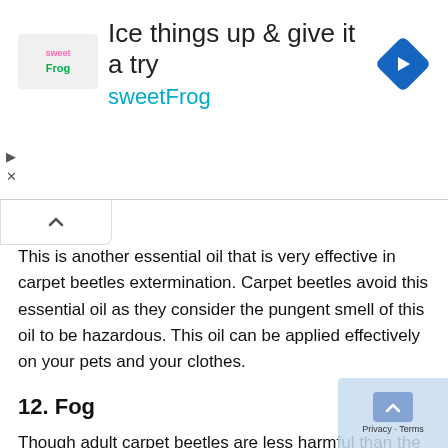[Figure (infographic): Advertisement banner for sweetFrog: 'Ice things up & give it a try' with sweetFrog logo, brand name in blue, and a blue navigation arrow icon. Play and close controls visible on left side.]
This is another essential oil that is very effective in carpet beetles extermination. Carpet beetles avoid this essential oil as they consider the pungent smell of this oil to be hazardous. This oil can be applied effectively on your pets and your clothes.
12. Fog
Though adult carpet beetles are less harmful than the larvae as they do nothing else but lay eggs, still they need to be taken care of as they are the reason of increasing the pest population. Flying insect foggers can be used to kill the beetles and keep them from flying and attacking others.